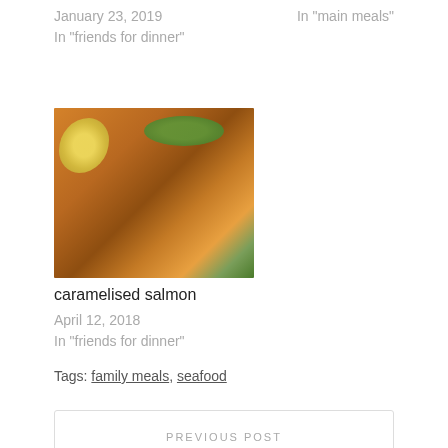January 23, 2019
In "friends for dinner"
In "main meals"
[Figure (photo): Photo of caramelised salmon dish with lemon wedge and green vegetables on rice]
caramelised salmon
April 12, 2018
In "friends for dinner"
Tags: family meals, seafood
PREVIOUS POST
silverbeet salad w almonds